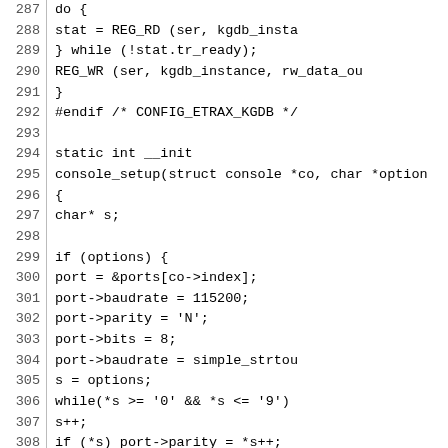[Figure (screenshot): Source code listing showing C code for a serial console driver, lines 287-316, with line numbers on the left and code on the right. The code includes a do-while loop, REG_WR calls, endif for CONFIG_ETRAX_KGDB, a static int __init console_setup function with port configuration logic.]